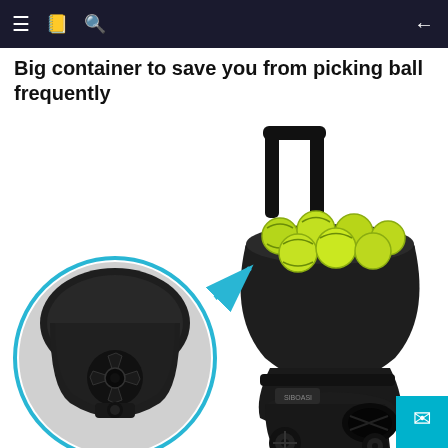≡  📋  🔍  ←
Big container to save you from picking ball frequently
[Figure (photo): A black tennis ball machine with a large hopper container filled with bright yellow-green tennis balls, with a retractable handle on top and wheels at the base. A circular inset shows a close-up view of the ball feeder mechanism inside the container. A blue arrow points from the inset to the main machine.]